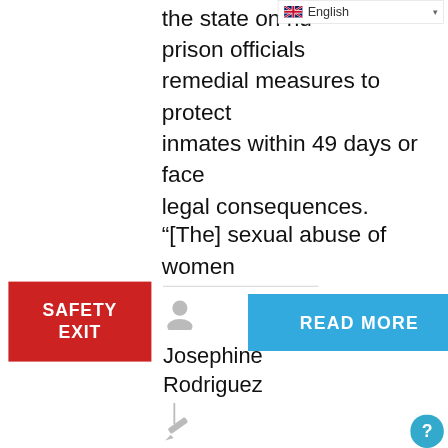[Figure (screenshot): English language selector dropdown UI element with flag icon]
the state on numerous prison officials to institute remedial measures to protect inmates within 49 days or face legal consequences.
“[The] sexual abuse of women
[Figure (other): Safety Exit red button]
[Figure (other): READ MORE blue button]
[Figure (other): User/author icon (grey silhouette)]
Josephine Rodriguez
|
[Figure (other): Pencil/edit icon (grey)]
January 8, 2021  |
[Figure (other): Category/list icon (grey lines)]
ABOUT SEX OFFENDERS AND
[Figure (other): Help/question mark circle button (blue, bottom right)]